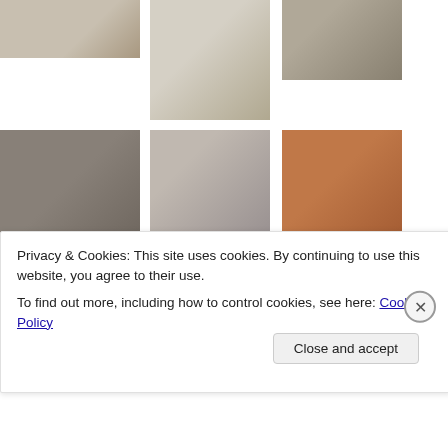[Figure (photo): Partial image of a document or photo, top row left]
[Figure (photo): Handwritten letter or document, top row center]
[Figure (photo): Collage of black and white portrait photos, top row right]
[Figure (photo): Two human skulls with a bottle, black and white, middle row left]
[Figure (photo): Grid of black and white headshot portraits with names below, middle row center]
[Figure (photo): Man in orange jumpsuit standing in courtroom, middle row right]
[Figure (photo): Mixed collage of images, bottom row left]
[Figure (photo): Dark greenish toned image, bottom row center]
[Figure (photo): Interior room photo, bottom row right]
Privacy & Cookies: This site uses cookies. By continuing to use this website, you agree to their use.
To find out more, including how to control cookies, see here: Cookie Policy
Close and accept